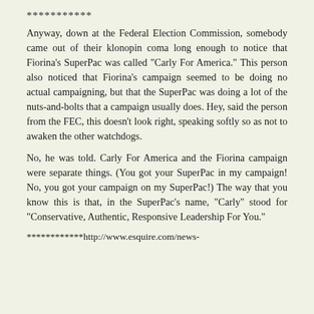***********
Anyway, down at the Federal Election Commission, somebody came out of their klonopin coma long enough to notice that Fiorina's SuperPac was called "Carly For America." This person also noticed that Fiorina's campaign seemed to be doing no actual campaigning, but that the SuperPac was doing a lot of the nuts-and-bolts that a campaign usually does. Hey, said the person from the FEC, this doesn't look right, speaking softly so as not to awaken the other watchdogs.
No, he was told. Carly For America and the Fiorina campaign were separate things. (You got your SuperPac in my campaign! No, you got your campaign on my SuperPac!) The way that you know this is that, in the SuperPac's name, "Carly" stood for "Conservative, Authentic, Responsive Leadership For You."
************http://www.esquire.com/news-